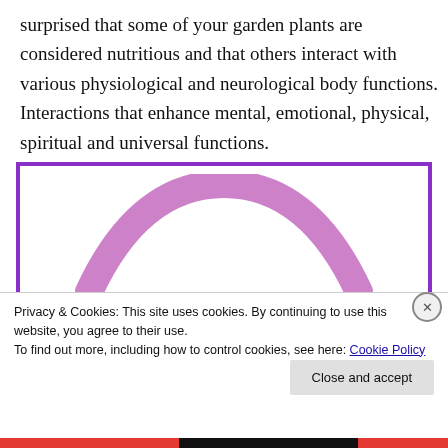surprised that some of your garden plants are considered nutritious and that others interact with various physiological and neurological body functions. Interactions that enhance mental, emotional, physical, spiritual and universal functions.
[Figure (illustration): A purple arc/rainbow shape with label 'Violet Crown Chakra Edible, Medicinal, Natural Dye & Tea Plants' and plant names: Arbutus Tree, Blue Pea, Bo Tree]
Privacy & Cookies: This site uses cookies. By continuing to use this website, you agree to their use. To find out more, including how to control cookies, see here: Cookie Policy